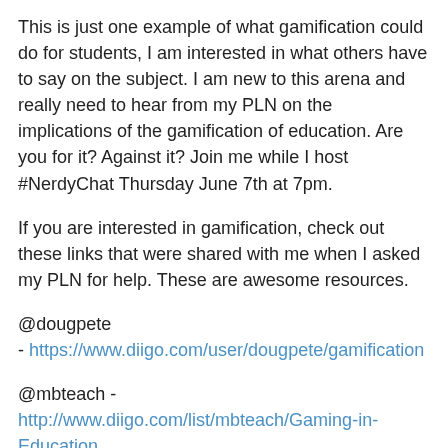This is just one example of what gamification could do for students, I am interested in what others have to say on the subject. I am new to this arena and really need to hear from my PLN on the implications of the gamification of education. Are you for it? Against it? Join me while I host #NerdyChat Thursday June 7th at 7pm.
If you are interested in gamification, check out these links that were shared with me when I asked my PLN for help. These are awesome resources.
@dougpete - https://www.diigo.com/user/dougpete/gamification
@mbteach - http://www.diigo.com/list/mbteach/Gaming-in-Education
@dsamuelsperetz - http://gamification.org/ - A wiki for all things gamification
Infographic shared to me by @WandaMcClure